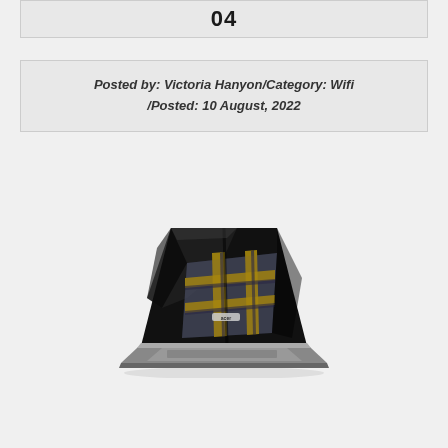04
Posted by: Victoria Hanyon/Category: Wifi /Posted: 10 August, 2022
[Figure (photo): Acer laptop photographed from behind at an angle, showing the glossy black lid with an Acer logo, reflecting a plaid/tartan fabric pattern in blue, yellow, and brown tones. The keyboard is partially visible at the bottom right.]